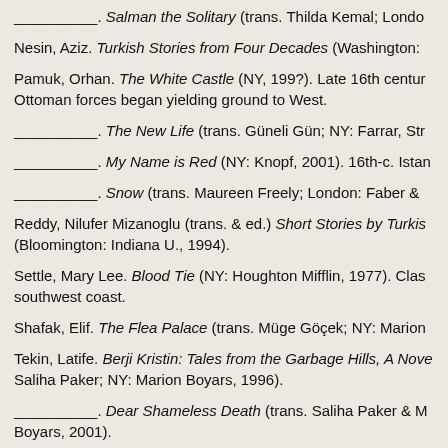________. Salman the Solitary (trans. Thilda Kemal; Londo
Nesin, Aziz. Turkish Stories from Four Decades (Washington:
Pamuk, Orhan. The White Castle (NY, 199?). Late 16th centur Ottoman forces began yielding ground to West.
________. The New Life (trans. Güneli Gün; NY: Farrar, Str
________. My Name is Red (NY: Knopf, 2001). 16th-c. Istan
________. Snow (trans. Maureen Freely; London: Faber &
Reddy, Nilufer Mizanoglu (trans. & ed.) Short Stories by Turkis (Bloomington: Indiana U., 1994).
Settle, Mary Lee. Blood Tie (NY: Houghton Mifflin, 1977). Clas southwest coast.
Shafak, Elif. The Flea Palace (trans. Müge Göçek; NY: Marion
Tekin, Latife. Berji Kristin: Tales from the Garbage Hills, A Nove Saliha Paker; NY: Marion Boyars, 1996).
________. Dear Shameless Death (trans. Saliha Paker & M Boyars, 2001).